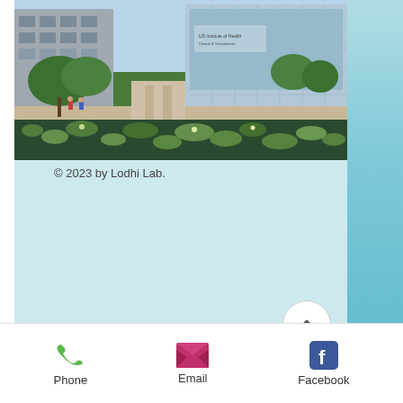[Figure (photo): Exterior photo of a modern multi-story building with glass facade and green trees, with a lily pad pond in the foreground. People visible on a walkway. Building signage reads something related to an institute.]
© 2023 by Lodhi Lab.
[Figure (infographic): A circular white button with an upward-pointing chevron/caret arrow, used as a scroll-to-top button.]
Phone  Email  Facebook